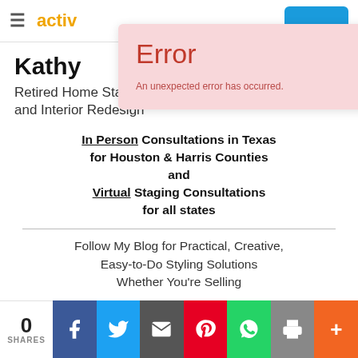activ... [navigation bar with logo and button]
[Figure (screenshot): Error popup overlay with pink background showing 'Error' heading and 'An unexpected error has occurred.' message]
Kathy [truncated]
Retired Home Stager and Interior Redesign
In Person Consultations in Texas for Houston & Harris Counties and Virtual Staging Consultations for all states
Follow My Blog for Practical, Creative, Easy-to-Do Styling Solutions Whether You're Selling
0 SHARES | Facebook | Twitter | Email | Pinterest | WhatsApp | Print | More